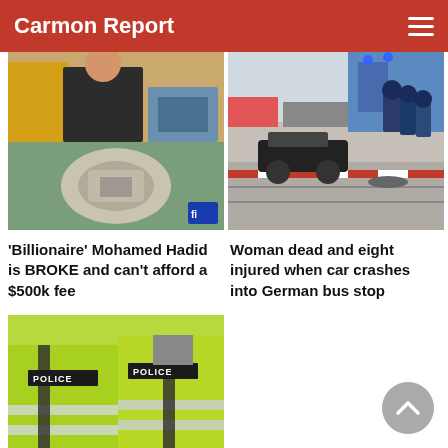Carmon Report
[Figure (photo): Collage showing a woman in yellow and a woman in black seated at a table, plus an aerial view of a building]
'Billionaire' Mohamed Hadid is BROKE and can't afford a $500k fee
[Figure (photo): Accident scene with police tape, a crashed car, and firefighters/emergency responders on a street in Germany]
Woman dead and eight injured when car crashes into German bus stop
[Figure (photo): Two police officers in yellow high-visibility vests with 'POLICE' written on the back]
Four out of ten offenders are career criminals